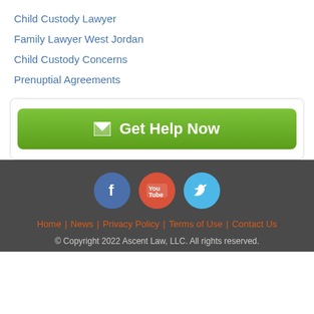Child Custody Lawyer
Family Lawyer West Jordan
Child Custody Concerns
Prenuptial Agreements
[Figure (other): Green 'Get Help Now' button with envelope icon inside a white rounded box]
[Figure (other): Social media icons: Facebook (blue circle), YouTube (red circle), Twitter (light blue circle)]
Home | News | Privacy Policy | Terms of Use | Contact Us
© Copyright 2022 Ascent Law, LLC. All rights reserved.